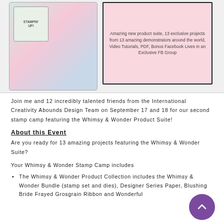[Figure (photo): Top image showing stamping project materials and product promotional banner. Left side shows crafting papers with floral/whimsy design with a stamp logo. Right side shows a pink promotional box with text about the event.]
Amazing new product suite, 13 exclusive projects from 13 amazing demonstrators around the world, Video Tutorials, PDF, Bonus Facebook Lives in an Exclusive FB Group
Join me and 12 incredibly talented friends from the International Creativity Abounds Design Team on September 17 and 18 for our second stamp camp featuring the Whimsy & Wonder Product Suite!
About this Event
Are you ready for 13 amazing projects featuring the Whimsy & Wonder Suite?
Your Whimsy & Wonder Stamp Camp includes
The Whimsy & Wonder Product Collection includes the Whimsy & Wonder Bundle (stamp set and dies), Designer Series Paper, Blushing Bride Frayed Grosgrain Ribbon and Wonderful